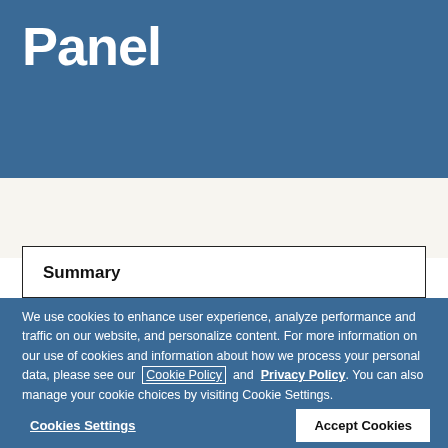Panel
Summary
We use cookies to enhance user experience, analyze performance and traffic on our website, and personalize content. For more information on our use of cookies and information about how we process your personal data, please see our Cookie Policy and Privacy Policy. You can also manage your cookie choices by visiting Cookie Settings.
Cookies Settings
Accept Cookies